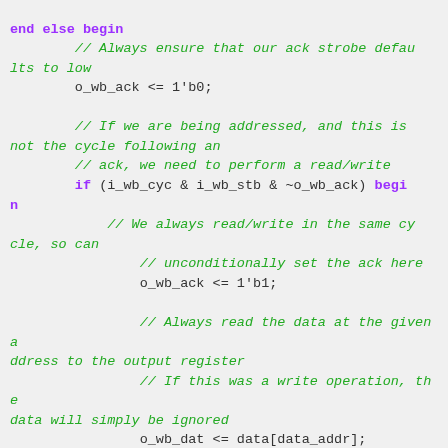end else begin
        // Always ensure that our ack strobe defaults to low
        o_wb_ack <= 1'b0;

        // If we are being addressed, and this is not the cycle following an
        // ack, we need to perform a read/write
        if (i_wb_cyc & i_wb_stb & ~o_wb_ack) begin
            // We always read/write in the same cycle, so can
                // unconditionally set the ack here
                o_wb_ack <= 1'b1;

                // Always read the data at the given address to the output register
                // If this was a write operation, the data will simply be ignored
                o_wb_dat <= data[data_addr];

                // If this is a write, we need to do something a bit special here.
                // Since this memory needs to support non-32-bit operations, we
                // have to respect the byte select val